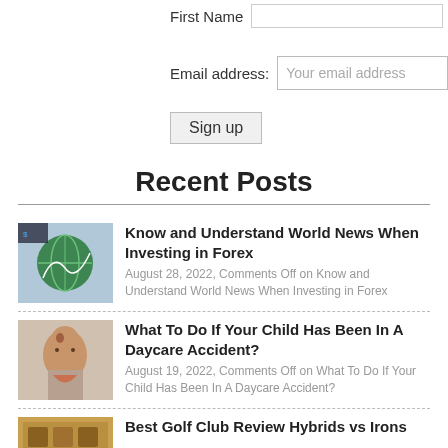First Name
Email address: Your email address
Sign up
Recent Posts
[Figure (photo): Globe with financial chart overlay image]
Know and Understand World News When Investing in Forex
August 28, 2022, Comments Off on Know and Understand World News When Investing in Forex
[Figure (photo): Child with open mouth photo]
What To Do If Your Child Has Been In A Daycare Accident?
August 19, 2022, Comments Off on What To Do If Your Child Has Been In A Daycare Accident?
Best Golf Club Review Hybrids vs Irons